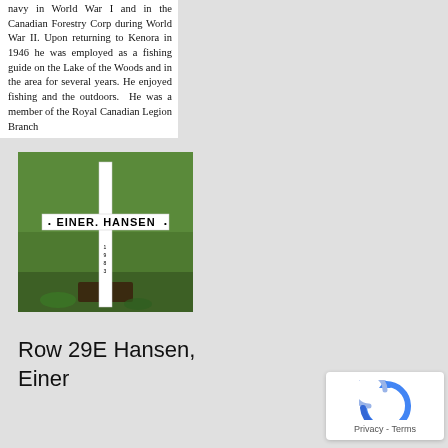navy in World War I and in the Canadian Forestry Corp during World War II. Upon returning to Kenora in 1946 he was employed as a fishing guide on the Lake of the Woods and in the area for several years. He enjoyed fishing and the outdoors. He was a member of the Royal Canadian Legion Branch
[Figure (photo): A white cross grave marker in a grassy cemetery. The horizontal bar reads 'EINER HANSEN' and the vertical bar has additional text below.]
Row 29E Hansen, Einer
[Figure (other): Google reCAPTCHA Privacy widget showing the reCAPTCHA logo and 'Privacy - Terms' text.]